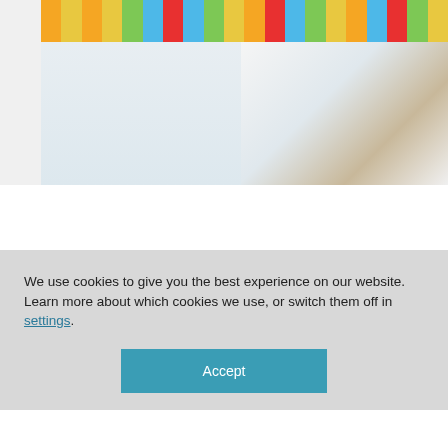[Figure (photo): A room interior showing a colorful striped fabric valance/curtain at the top in bright rainbow stripes (orange, yellow, green, blue, red), with white walls and a window or door frame visible on the right side.]
We use cookies to give you the best experience on our website.
Learn more about which cookies we use, or switch them off in settings.
Accept